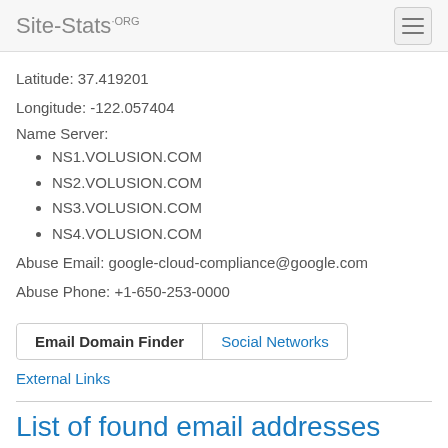Site-Stats.ORG
Latitude: 37.419201
Longitude: -122.057404
Name Server:
NS1.VOLUSION.COM
NS2.VOLUSION.COM
NS3.VOLUSION.COM
NS4.VOLUSION.COM
Abuse Email: google-cloud-compliance@google.com
Abuse Phone: +1-650-253-0000
Email Domain Finder | Social Networks | External Links
List of found email addresses
No Emails Found